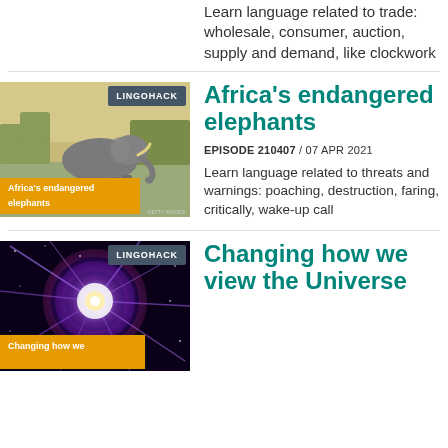Learn language related to trade: wholesale, consumer, auction, supply and demand, like clockwork
[Figure (screenshot): Lingohack thumbnail showing an elephant at a waterhole with text 'Africa's endangered elephants']
Africa's endangered elephants
EPISODE 210407 / 07 APR 2021
Learn language related to threats and warnings: poaching, destruction, faring, critically, wake-up call
[Figure (screenshot): Lingohack thumbnail showing a purple galaxy/universe explosion with text 'Changing how we view the Universe']
Changing how we view the Universe